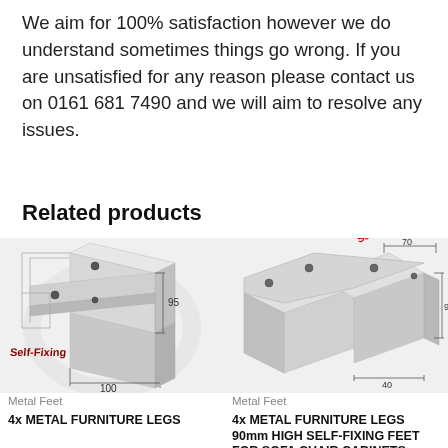We aim for 100% satisfaction however we do understand sometimes things go wrong. If you are unsatisfied for any reason please contact us on 0161 681 7490 and we will aim to resolve any issues.
Related products
[Figure (photo): A silver/chrome self-fixing metal furniture leg with 'Self-Fixing' label in dark red, showing dimensions: 95 and 100]
Metal Feet
4x METAL FURNITURE LEGS
[Figure (photo): Two silver/chrome self-fixing metal furniture legs with 'Self-Fixing' label in red, showing dimensions: 70, 95, and 40]
Metal Feet
4x METAL FURNITURE LEGS 90mm HIGH SELF-FIXING FEET FOR SOFA CHAIR CABINETS BEDS